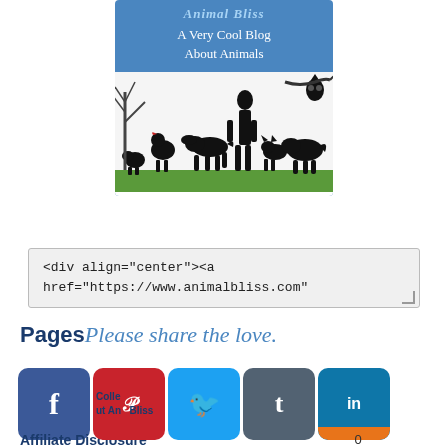[Figure (logo): Animal Bliss blog logo with blue background, subtitle 'A Very Cool Blog About Animals', and silhouette scene of woman walking animals including dog, cat, chicken, raccoon, goat, and owl on a branch]
<div align="center"><a href="https://www.animalbliss.com"
Pages
Please share the love.
[Figure (screenshot): Social media share buttons: Facebook (dark blue), Pinterest (red), Twitter (light blue), Tumblr (slate), LinkedIn (blue with orange bottom bar). Count showing 0.]
Collections About Animal Bliss
Affiliate Disclosure